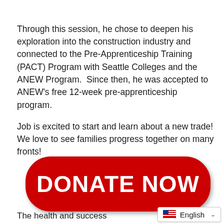Through this session, he chose to deepen his exploration into the construction industry and connected to the Pre-Apprenticeship Training (PACT) Program with Seattle Colleges and the ANEW Program.  Since then, he was accepted to ANEW's free 12-week pre-apprenticeship program.

Job is excited to start and learn about a new trade! We love to see families progress together on many fronts!
[Figure (other): A large red rounded-rectangle button with white bold text reading 'DONATE NOW']
The health and success
[Figure (other): Language selector widget showing a US flag icon and the text 'English' with a dropdown chevron]